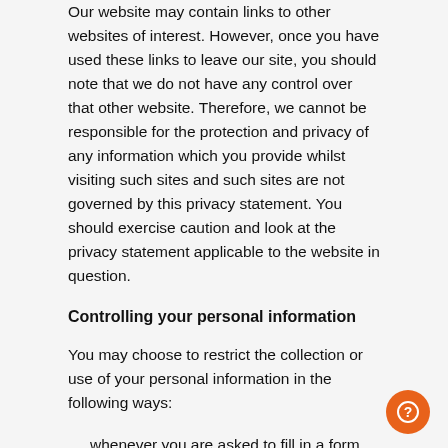Our website may contain links to other websites of interest. However, once you have used these links to leave our site, you should note that we do not have any control over that other website. Therefore, we cannot be responsible for the protection and privacy of any information which you provide whilst visiting such sites and such sites are not governed by this privacy statement. You should exercise caution and look at the privacy statement applicable to the website in question.
Controlling your personal information
You may choose to restrict the collection or use of your personal information in the following ways:
whenever you are asked to fill in a form on the website, look for the box that you can click to indicate that you do not want the information to be used by anybody for direct marketing purposes